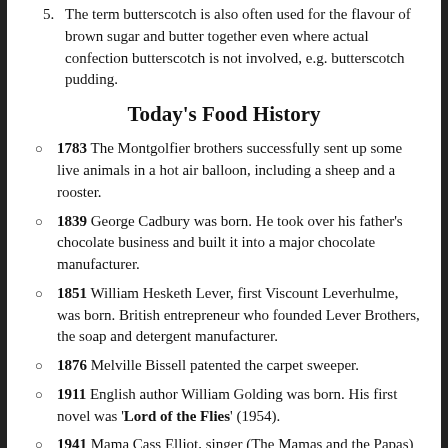5. The term butterscotch is also often used for the flavour of brown sugar and butter together even where actual confection butterscotch is not involved, e.g. butterscotch pudding.
Today's Food History
1783 The Montgolfier brothers successfully sent up some live animals in a hot air balloon, including a sheep and a rooster.
1839 George Cadbury was born. He took over his father's chocolate business and built it into a major chocolate manufacturer.
1851 William Hesketh Lever, first Viscount Leverhulme, was born. British entrepreneur who founded Lever Brothers, the soap and detergent manufacturer.
1876 Melville Bissell patented the carpet sweeper.
1911 English author William Golding was born. His first novel was 'Lord of the Flies' (1954).
1941 Mama Cass Elliot, singer (The Mamas and the Papas) was born. The rumor that she choked to death on a ham